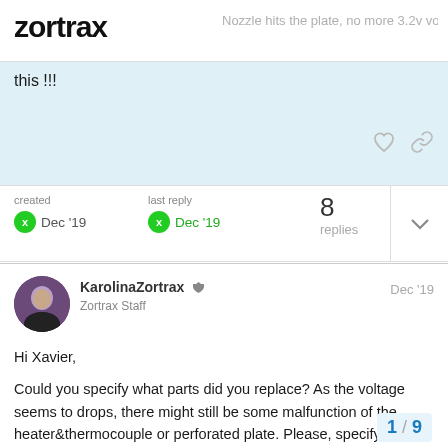zortrax | Nozzle hits the plate, no more 3.2v vol...
this !!!
created
Dec '19
last reply
Dec '19
8
replies
KarolinaZortrax
Zortrax Staff
Dec '19
Hi Xavier,

Could you specify what parts did you replace? As the voltage seems to drops, there might still be some malfunction of the heater&thermocouple or perforated plate. Please, specify what you replaced so far, you may also provide a picture of the small connector.
1 / 9